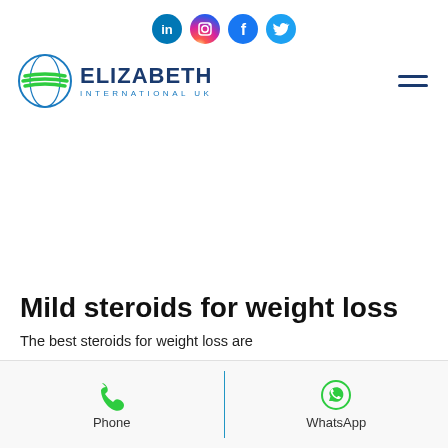[Figure (logo): Social media icons row: LinkedIn (blue), Instagram (gradient pink/purple), Facebook (blue), Twitter (blue), all circular]
[Figure (logo): Elizabeth International UK logo with globe icon and nav hamburger menu]
Mild steroids for weight loss
The best steroids for weight loss are
[Figure (infographic): Bottom contact bar with Phone (green phone icon) and WhatsApp (green WhatsApp icon) buttons separated by a blue vertical line]